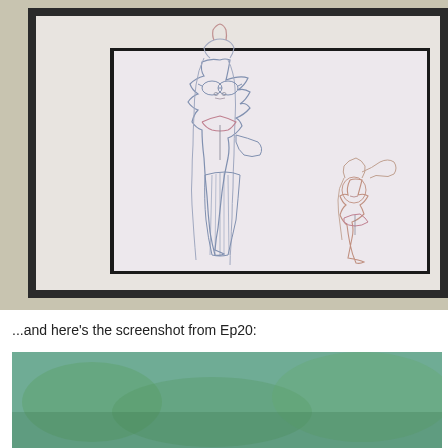[Figure (photo): A framed artwork or monitor screen displayed on a wall, showing a pencil/line-art sketch of two anime-style female characters in school uniforms. The taller character has long hair and glasses, the shorter character has a ponytail. The drawing uses blue and pink pencil lines on white paper. The frame is dark/black, and the wall behind is light gray.]
...and here's the screenshot from Ep20:
[Figure (screenshot): A partial screenshot (bottom of page, cropped) showing a teal/green-tinted scene, likely from an anime episode.]